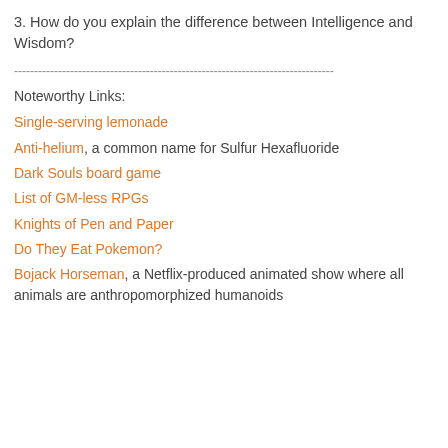3. How do you explain the difference between Intelligence and Wisdom?
--------------------------------------------------------------------------------
Noteworthy Links:
Single-serving lemonade
Anti-helium, a common name for Sulfur Hexafluoride
Dark Souls board game
List of GM-less RPGs
Knights of Pen and Paper
Do They Eat Pokemon?
Bojack Horseman, a Netflix-produced animated show where all animals are anthropomorphized humanoids